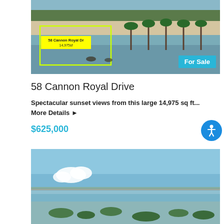[Figure (photo): Aerial photo of a waterfront land parcel at 58 Cannon Royal Drive, with yellow bounding box outline and label '58 Cannon Royal Dr 14,975sf', palm trees and water visible, with a 'For Sale' badge in the lower right corner]
58 Cannon Royal Drive
Spectacular sunset views from this large 14,975 sq ft...
More Details ▶
$625,000
[Figure (photo): Aerial photo of a coastal waterway with blue sky, shallow water, small mangrove islands, and a causeway or bridge visible in the distance]